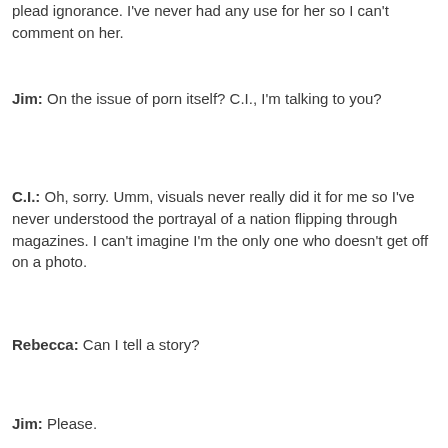plead ignorance. I've never had any use for her so I can't comment on her.
Jim: On the issue of porn itself? C.I., I'm talking to you?
C.I.: Oh, sorry. Umm, visuals never really did it for me so I've never understood the portrayal of a nation flipping through magazines. I can't imagine I'm the only one who doesn't get off on a photo.
Rebecca: Can I tell a story?
Jim: Please.